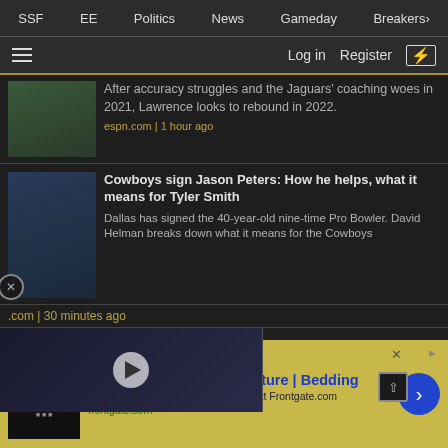SSF  EE  Politics  News  Gameday  Breakers
Log in  Register
[Figure (screenshot): Partial news article thumbnail showing a football player (Jaguars QB) and text about accuracy struggles]
After accuracy struggles and the Jaguars' coaching woes in 2021, Lawrence looks to rebound in 2022.
espn.com | 1 hour ago
[Figure (screenshot): News article thumbnail showing Cowboys player Jason Peters]
Cowboys sign Jason Peters: How he helps, what it means for Tyler Smith
Dallas has signed the 40-year-old nine-time Pro Bowler. David Helman breaks down what it means for the Cowboys
.com | 30 minutes ago
[Figure (screenshot): Embedded video overlay showing two people on screen with a play button, Saints/Bayou branding]
idn't expect to be staying
content, tailor your experience an
[Figure (screenshot): Advertisement for Frontgate: Outdoor Furniture | Bedding. 25% off site wide sale going on now at Frontgate.com. frontgate.com]